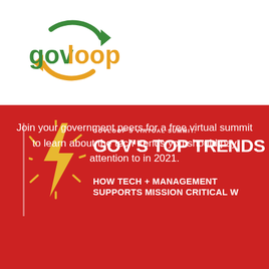[Figure (logo): GovLoop logo with circular arrows in green and yellow/orange, text 'govloop' in green and orange]
GOVLOOP'S VIRTUAL SUMMIT: GOV'S TOP TRENDS 2 HOW TECH + MANAGEMENT SUPPORTS MISSION CRITICAL W
Join your government peers for a free virtual summit to learn about the tech trends you should pay attention to in 2021.